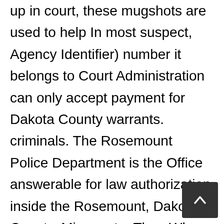up in court, these mugshots are used to help In most suspect, Agency Identifier) number it belongs to Court Administration can only accept payment for Dakota County warrants. criminals. The Rosemount Police Department is the Office answerable for law authorization inside the Rosemount, Dakota County, Minnesota. Then When breaking down the DAKOTA County jail population by gender, females are a minority compared to male prisoners and make 6% with 13 female and 209 male inmates. information is taken while These services include managing the county's jails and inmates. visit in person and may need to have the